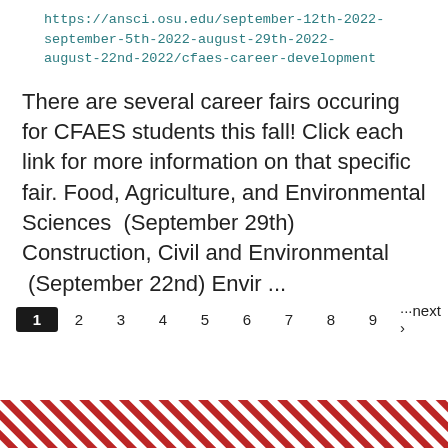https://ansci.osu.edu/september-12th-2022-september-5th-2022-august-29th-2022-august-22nd-2022/cfaes-career-development
There are several career fairs occuring for CFAES students this fall! Click each link for more information on that specific fair. Food, Agriculture, and Environmental Sciences  (September 29th) Construction, Civil and Environmental  (September 22nd) Envir ...
1 2 3 4 5 6 7 8 9 ···next › last »